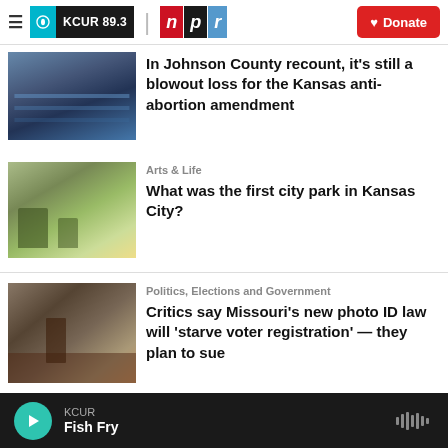KCUR 89.3 | npr | Donate
[Figure (photo): Industrial or warehouse interior with conveyor belts and equipment]
In Johnson County recount, it's still a blowout loss for the Kansas anti-abortion amendment
[Figure (photo): Vintage postcard or painting of a city park with trees and landscape]
Arts & Life
What was the first city park in Kansas City?
[Figure (photo): Group of people at a press conference or public event at a podium]
Politics, Elections and Government
Critics say Missouri's new photo ID law will 'starve voter registration' — they plan to sue
KCUR Fish Fry